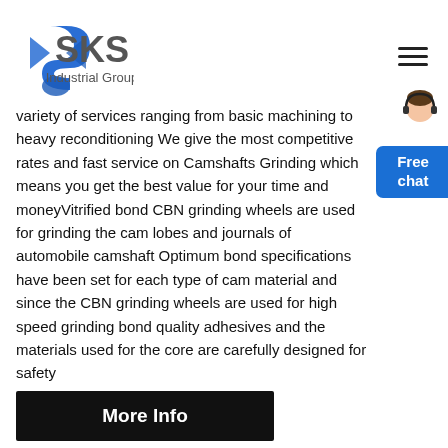[Figure (logo): SKS Industrial Group logo with blue diamond/arrow symbol and gray text]
variety of services ranging from basic machining to heavy reconditioning We give the most competitive rates and fast service on Camshafts Grinding which means you get the best value for your time and moneyVitrified bond CBN grinding wheels are used for grinding the cam lobes and journals of automobile camshaft Optimum bond specifications have been set for each type of cam material and since the CBN grinding wheels are used for high speed grinding bond quality adhesives and the materials used for the core are carefully designed for safety
[Figure (illustration): Person in headset - free chat button overlay in blue]
More Info